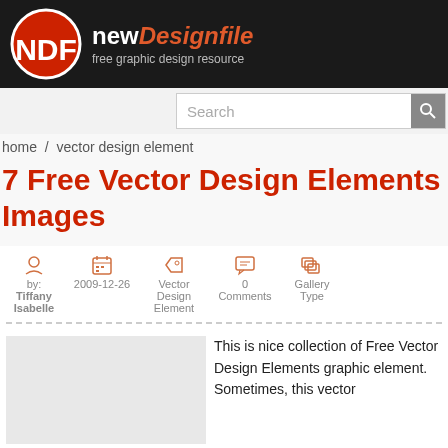newDesignfile — free graphic design resource
Search
home / vector design element
7 Free Vector Design Elements Images
by: Tiffany Isabelle   2009-12-26   Vector Design Element   0 Comments   Gallery Type
This is nice collection of Free Vector Design Elements graphic element. Sometimes, this vector